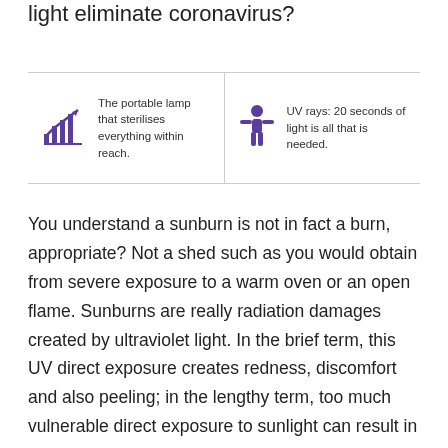light eliminate coronavirus?
[Figure (infographic): Two icon panels separated by a vertical divider. Left panel: a chart/graph icon with an upward arrow in purple, with text 'The portable lamp that sterilises everything within reach.' Right panel: a person/human figure icon in purple, with text 'UV rays: 20 seconds of light is all that is needed.']
You understand a sunburn is not in fact a burn, appropriate? Not a shed such as you would obtain from severe exposure to a warm oven or an open flame. Sunburns are really radiation damages created by ultraviolet light. In the brief term, this UV direct exposure creates redness, discomfort and also peeling; in the lengthy term, too much vulnerable direct exposure to sunlight can result in skin cancer.